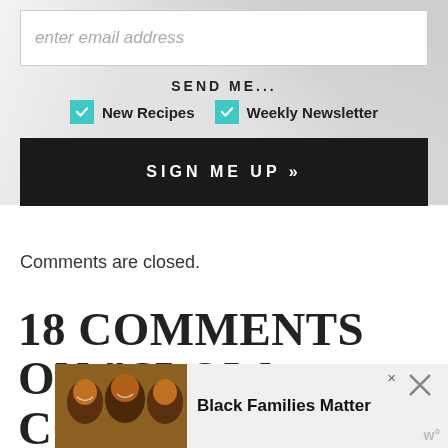[Figure (screenshot): Email newsletter signup banner with marble background, email input field, checkboxes for New Recipes and Weekly Newsletter, and a dark SIGN ME UP button]
Comments are closed.
18 COMMENTS ON “SLOW COOKER BLACK BEAN
[Figure (infographic): Black Families Matter advertisement banner with photo of smiling family, close button X, and w logo]